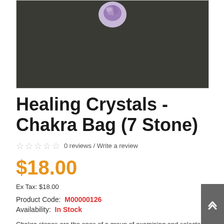[Figure (photo): Product photo of a healing crystal stone on a dark background]
Healing Crystals - Chakra Bag (7 Stone)
0 reviews / Write a review
$18.00
Ex Tax: $18.00
Product Code:  M00000126
Availability:  In Stock
Chakra stones are the ones of a group of examining and selected at the home of small